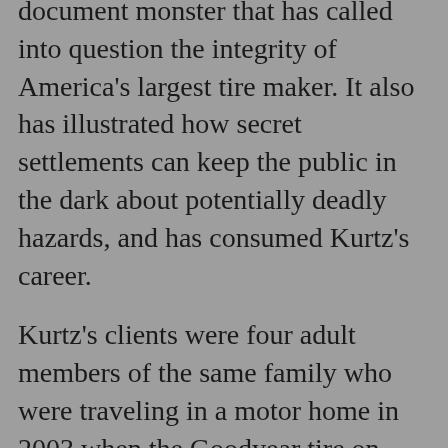document monster that has called into question the integrity of America's largest tire maker. It also has illustrated how secret settlements can keep the public in the dark about potentially deadly hazards, and has consumed Kurtz's career.
Kurtz's clients were four adult members of the same family who were traveling in a motor home in 2003 when the Goodyear tire on their right front wheel suddenly lost its tread, leading to a high-speed, single-vehicle crash in which they were seriously injured. It turned out that their lawsuit would be one of several dozen to be filed